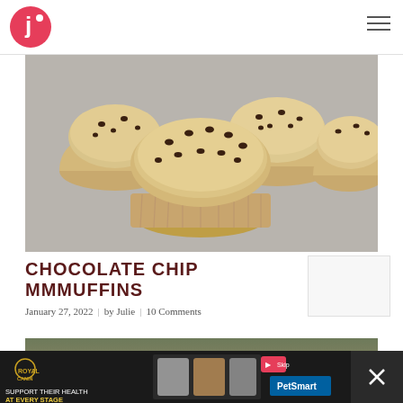Julie's blog logo and navigation
[Figure (photo): Overhead photo of chocolate chip muffins on a grey surface, showing 4-5 golden muffins topped with mini chocolate chips]
CHOCOLATE CHIP MMMUFFINS
January 27, 2022 | by Julie | 10 Comments
[Figure (photo): Partial photo of a second food item, appears to be breaded or crusted dish with herbs]
[Figure (other): Royal Canin advertisement: SUPPORT THEIR HEALTH AT EVERY STAGE, with PetSmart logo]